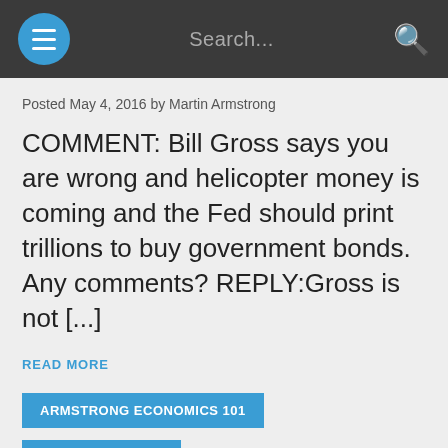Search...
Posted May 4, 2016 by Martin Armstrong
COMMENT: Bill Gross says you are wrong and helicopter money is coming and the Fed should print trillions to buy government bonds. Any comments? REPLY:Gross is not [...]
READ MORE
ARMSTRONG ECONOMICS 101   BASIC CONCEPTS
[Figure (logo): Armstrong Economics logo with mountain-shaped icon and the word Armstrong in gray]